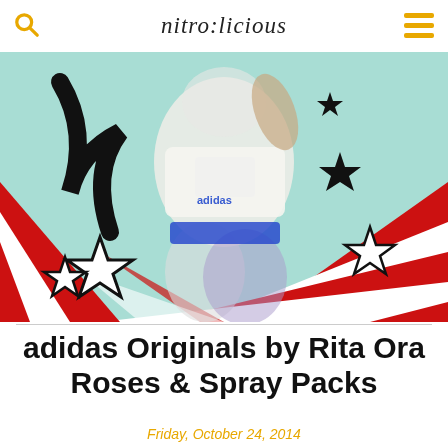nitro:licious
[Figure (photo): Rita Ora wearing adidas Originals outfit — white crop top with adidas trefoil logo and colorful patterned leggings, posing against a red, white and blue star-burst background with pop-art style stars and graphic elements]
adidas Originals by Rita Ora Roses & Spray Packs
Friday, October 24, 2014